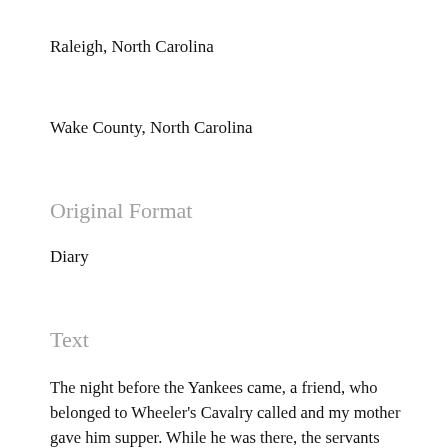Raleigh, North Carolina
Wake County, North Carolina
Original Format
Diary
Text
The night before the Yankees came, a friend, who belonged to Wheeler's Cavalry called and my mother gave him supper. While he was there, the servants came in and said the soldiers were tearing down the garden fence and putting their horses in, so he went out and sent them off. These men were of Wheeler's Cavalry and were a wild lot. This officer remarked to me, "You look more matronly than when I saw you in St. Louis."  There was a good reason for it, as I had $200.00 in gold quilted in a belt under my